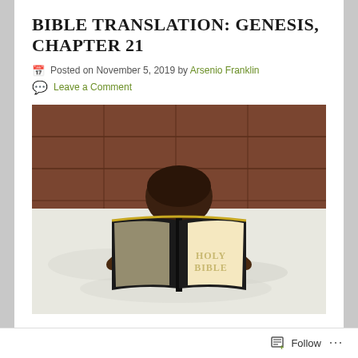BIBLE TRANSLATION: GENESIS, CHAPTER 21
Posted on November 5, 2019 by Arsenio Franklin
Leave a Comment
[Figure (photo): A child reading a large black Holy Bible book, face hidden behind the open book, sitting on a white bed with a wooden headboard in the background.]